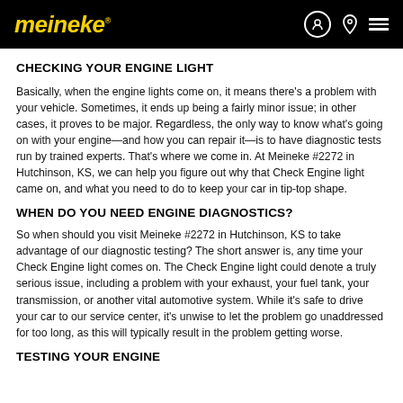meineke
CHECKING YOUR ENGINE LIGHT
Basically, when the engine lights come on, it means there's a problem with your vehicle. Sometimes, it ends up being a fairly minor issue; in other cases, it proves to be major. Regardless, the only way to know what's going on with your engine—and how you can repair it—is to have diagnostic tests run by trained experts. That's where we come in. At Meineke #2272 in Hutchinson, KS, we can help you figure out why that Check Engine light came on, and what you need to do to keep your car in tip-top shape.
WHEN DO YOU NEED ENGINE DIAGNOSTICS?
So when should you visit Meineke #2272 in Hutchinson, KS to take advantage of our diagnostic testing? The short answer is, any time your Check Engine light comes on. The Check Engine light could denote a truly serious issue, including a problem with your exhaust, your fuel tank, your transmission, or another vital automotive system. While it's safe to drive your car to our service center, it's unwise to let the problem go unaddressed for too long, as this will typically result in the problem getting worse.
TESTING YOUR ENGINE